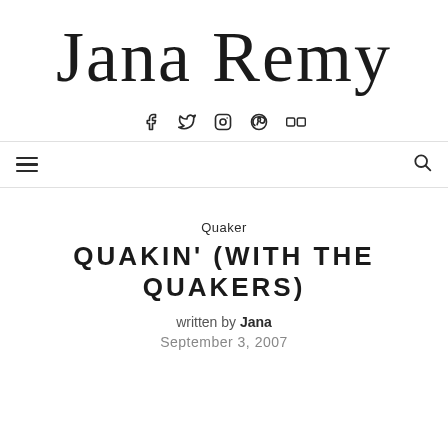Jana Remy
[Figure (other): Social media icons: Facebook, Twitter, Instagram, Pinterest, Flickr]
Navigation bar with hamburger menu and search icon
Quaker
QUAKIN' (WITH THE QUAKERS)
written by Jana
September 3, 2007